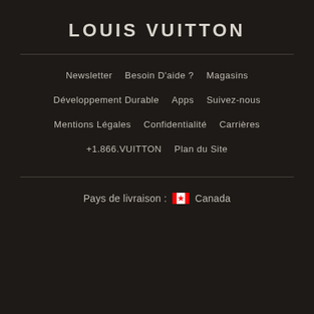LOUIS VUITTON
Newsletter
Besoin D'aide ?
Magasins
Développement Durable
Apps
Suivez-nous
Mentions Légales
Confidentialité
Carrières
+1.866.VUITTON
Plan du Site
Pays de livraison :  Canada